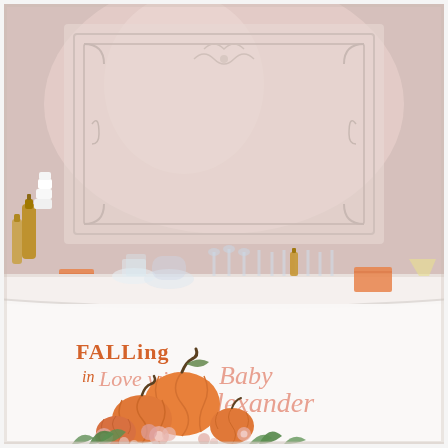[Figure (photo): A baby shower event photo showing a white curved bar/counter decorated with the text 'FALLing in Love with Baby Alexander' in orange and pink script lettering, with pumpkin and floral illustrations on the front. The bar top has clear glassware, orange napkins, and amber bottles. The background shows an elegant white-paneled room with warm pink uplighting. Fresh flowers and greenery are arranged at the base of the bar.]